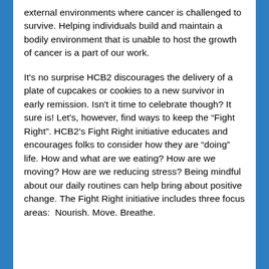external environments where cancer is challenged to survive. Helping individuals build and maintain a bodily environment that is unable to host the growth of cancer is a part of our work.
It's no surprise HCB2 discourages the delivery of a plate of cupcakes or cookies to a new survivor in early remission. Isn't it time to celebrate though? It sure is! Let's, however, find ways to keep the “Fight Right”. HCB2’s Fight Right initiative educates and encourages folks to consider how they are “doing” life. How and what are we eating? How are we moving? How are we reducing stress? Being mindful about our daily routines can help bring about positive change. The Fight Right initiative includes three focus areas:  Nourish. Move. Breathe.